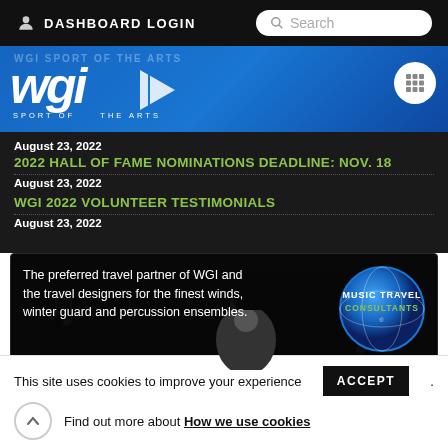DASHBOARD LOGIN | Search
[Figure (logo): WGI Sport of the Arts logo on blue banner background]
2022 HALL OF FAME NOMINATIONS DEADLINE: NOV. 18
August 23, 2022
WGI 2022 VOLUNTEER TESTIMONIALS
August 23, 2022
[Figure (illustration): Music Travel Consultants advertisement banner - The preferred travel partner of WGI and the travel designers for the finest winds, winter guard and percussion ensembles.]
This site uses cookies to improve your experience
Find out more about How we use cookies